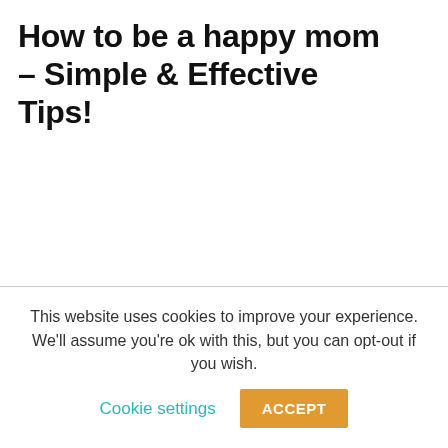How to be a happy mom – Simple & Effective Tips!
This website uses cookies to improve your experience. We'll assume you're ok with this, but you can opt-out if you wish.
Cookie settings
ACCEPT